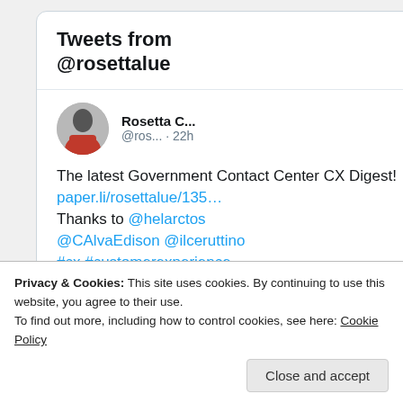Tweets from @rosettalue
Rosetta C... @ros... · 22h
The latest Government Contact Center CX Digest! paper.li/rosettalue/135… Thanks to @helarctos @CAlvaEdison @ilceruttino #cx #customerexperience
[Figure (photo): Partial tweet image strip visible at bottom of tweet card]
Privacy & Cookies: This site uses cookies. By continuing to use this website, you agree to their use.
To find out more, including how to control cookies, see here: Cookie Policy
Close and accept
Council Post: Providing A